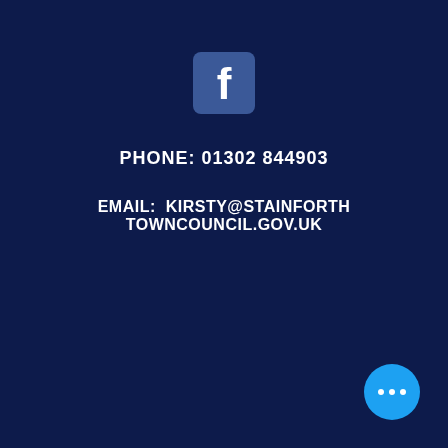[Figure (logo): Facebook logo icon — white 'f' on blue rounded square background]
PHONE: 01302 844903
EMAIL:  KIRSTY@STAINFORTH TOWNCOUNCIL.GOV.UK
[Figure (other): Cyan circular button with three white dots (ellipsis/more options button)]